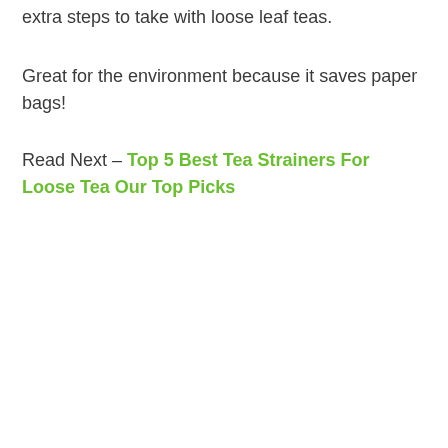extra steps to take with loose leaf teas.
Great for the environment because it saves paper bags!
Read Next – Top 5 Best Tea Strainers For Loose Tea Our Top Picks